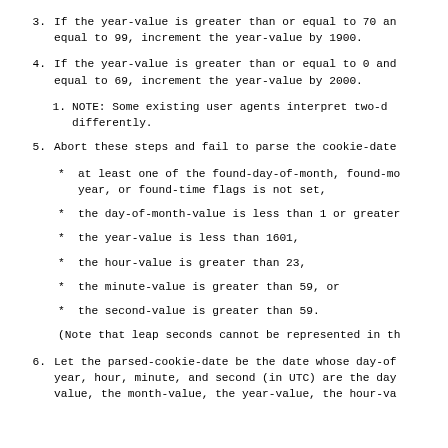3.  If the year-value is greater than or equal to 70 an equal to 99, increment the year-value by 1900.
4.  If the year-value is greater than or equal to 0 and equal to 69, increment the year-value by 2000.
1.  NOTE: Some existing user agents interpret two-d differently.
5.  Abort these steps and fail to parse the cookie-date
*  at least one of the found-day-of-month, found-mo year, or found-time flags is not set,
*  the day-of-month-value is less than 1 or greater
*  the year-value is less than 1601,
*  the hour-value is greater than 23,
*  the minute-value is greater than 59, or
*  the second-value is greater than 59.
(Note that leap seconds cannot be represented in th
6.  Let the parsed-cookie-date be the date whose day-of year, hour, minute, and second (in UTC) are the day value, the month-value, the year-value, the hour-va